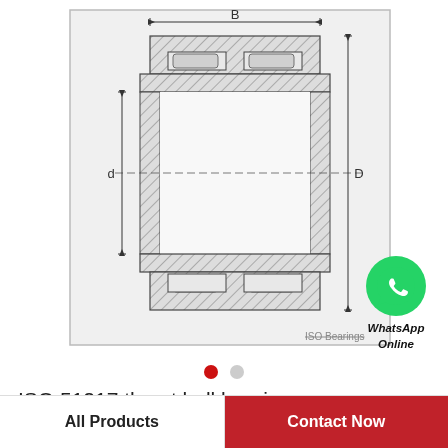[Figure (engineering-diagram): Cross-section engineering diagram of a cylindrical roller bearing (ISO 51217 thrust ball bearing) showing dimensions B (width), d (inner diameter), and D (outer diameter) with hatched cross-section regions indicating bearing races and rolling elements. Labeled 'ISO Bearings' at bottom.]
[Figure (logo): WhatsApp green phone icon with 'WhatsApp Online' text below in italic bold]
ISO 51217 thrust ball bearings
All Products
Contact Now